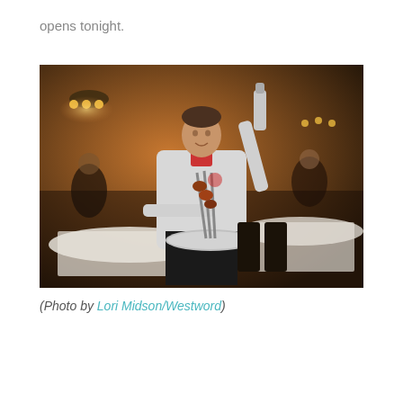opens tonight.
[Figure (photo): A server or restaurant staff member in a white jacket and dark pants stands in a restaurant dining room, holding a large silver platter with skewers of meat (churrascaria style) in one hand and a bottle in the other. The dining room has warm lighting, white tablecloths, and other guests visible in the background.]
(Photo by Lori Midson/Westword)